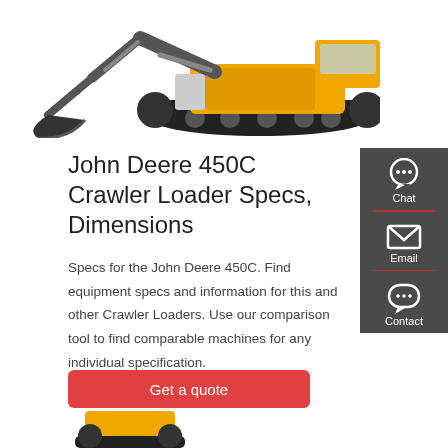[Figure (photo): Yellow and black crawler excavator / crawler loader (Volvo-style) on white background, with large bucket arm extended to the left]
John Deere 450C Crawler Loader Specs, Dimensions
Specs for the John Deere 450C. Find equipment specs and information for this and other Crawler Loaders. Use our comparison tool to find comparable machines for any individual specification.
Get a quote
[Figure (illustration): Partial view of yellow construction machine at bottom of page]